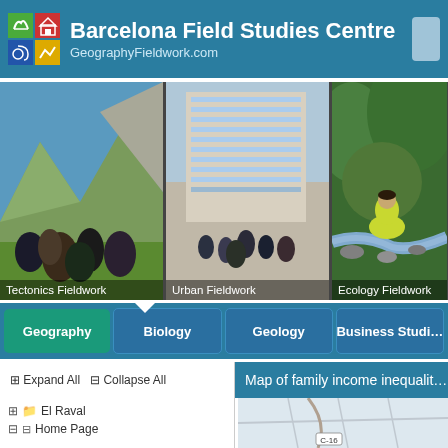Barcelona Field Studies Centre — GeographyFieldwork.com
[Figure (photo): Four fieldwork photos: Tectonics Fieldwork (students with mountains), Urban Fieldwork (modern glass building with students), Ecology Fieldwork (student in stream), Coastal fieldwork (partially visible)]
[Figure (infographic): Navigation tabs: Geography (active/green), Biology, Geology, Business Studies (partially visible)]
⊞ Expand All   ⊟ Collapse All
Map of family income inequalit…
⊞ 📁 El Raval
⊟ ⊟ Home Page
[Figure (map): Partial map view with road network, light grey background, label C-16 visible]